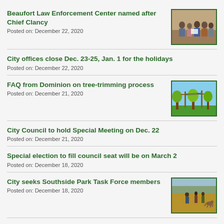Beaufort Law Enforcement Center named after Chief Clancy
Posted on: December 22, 2020
[Figure (photo): Group of people standing together, likely at an official ceremony]
City offices close Dec. 23-25, Jan. 1 for the holidays
Posted on: December 22, 2020
FAQ from Dominion on tree-trimming process
Posted on: December 21, 2020
[Figure (illustration): Illustration of trees and utility poles]
City Council to hold Special Meeting on Dec. 22
Posted on: December 21, 2020
Special election to fill council seat will be on March 2
Posted on: December 18, 2020
City seeks Southside Park Task Force members
Posted on: December 18, 2020
[Figure (photo): People outdoors in a park or field area]